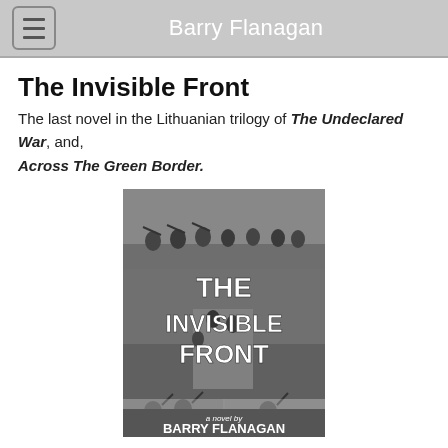Barry Flanagan
The Invisible Front
The last novel in the Lithuanian trilogy of The Undeclared War, and, Across The Green Border.
[Figure (photo): Black and white book cover of 'The Invisible Front' by Barry Flanagan, showing WWII-era soldiers and partisans in multiple collaged photographs, with large white text reading THE INVISIBLE FRONT and subtitle 'a novel by BARRY FLANAGAN' at the bottom.]